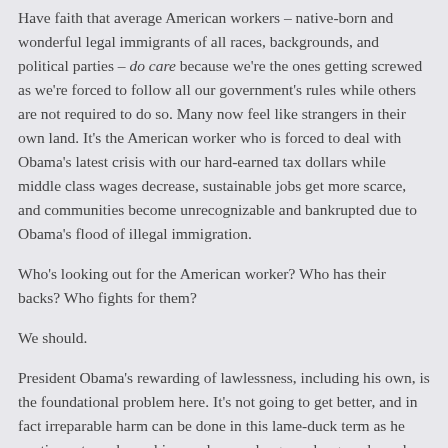Have faith that average American workers – native-born and wonderful legal immigrants of all races, backgrounds, and political parties – do care because we're the ones getting screwed as we're forced to follow all our government's rules while others are not required to do so. Many now feel like strangers in their own land. It's the American worker who is forced to deal with Obama's latest crisis with our hard-earned tax dollars while middle class wages decrease, sustainable jobs get more scarce, and communities become unrecognizable and bankrupted due to Obama's flood of illegal immigration.
Who's looking out for the American worker? Who has their backs? Who fights for them?
We should.
President Obama's rewarding of lawlessness, including his own, is the foundational problem here. It's not going to get better, and in fact irreparable harm can be done in this lame-duck term as he continues to make up his own laws as he goes along, and, mark my words, will next meddle in the U.S. Court System with appointments that will forever change the basic interpretation of our Constitution's role in protecting our rights.